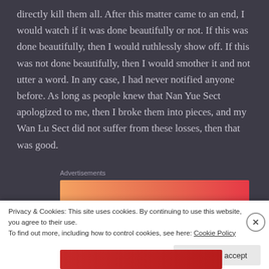directly kill them all. After this matter came to an end, I would watch if it was done beautifully or not. If this was done beautifully, then I would ruthlessly show off. If this was not done beautifully, then I would smother it and not utter a word. In any case, I had never notified anyone before. As long as people knew that Nan Yue Sect apologized to me, then I broke them into pieces, and my Wan Lu Sect did not suffer from these losses, then that was good.
Advertisements
Privacy & Cookies: This site uses cookies. By continuing to use this website, you agree to their use.
To find out more, including how to control cookies, see here: Cookie Policy
Close and accept